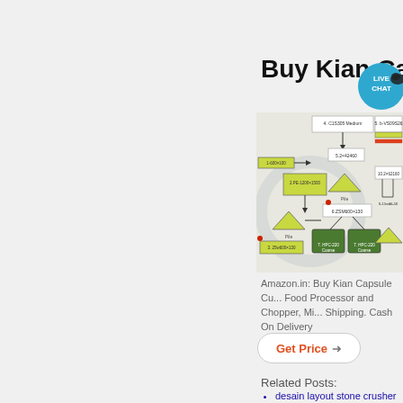Buy Kian Ca...
[Figure (flowchart): Engineering flowchart diagram showing a stone crusher plant layout with numbered components including crushers, screens, piles and conveyors connected by flow lines. Components labeled: 4.C1S305 Medium, S.b-4S09S26, 2.75-1200x1500, 5.2x42460, Pile, 6.ZSM600x130, 3.25w600x130, 10.2x62160, 7.HPC-220 Coarse, 7.HPC-220 Coarse, 0-15mm, 15-50]
Amazon.in: Buy Kian Capsule Cu... Food Processor and Chopper, Mi... Shipping. Cash On Delivery
Get Price →
Related Posts:
desain layout stone crusher
kecepatan ultrafine mill shanghai
crusher bijih emas bekas afrika se...
rolling mill di jalur durgapur